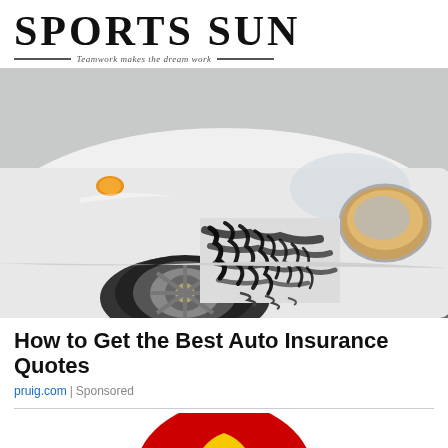SPORTS SUN — Teamwork makes the dream work
[Figure (photo): Close-up photo of a white car with significant black scratch damage on the front fender and bumper area near the headlight]
How to Get the Best Auto Insurance Quotes
pruig.com | Sponsored
[Figure (logo): Partial view of a red and yellow circular logo/badge at the bottom of the page]